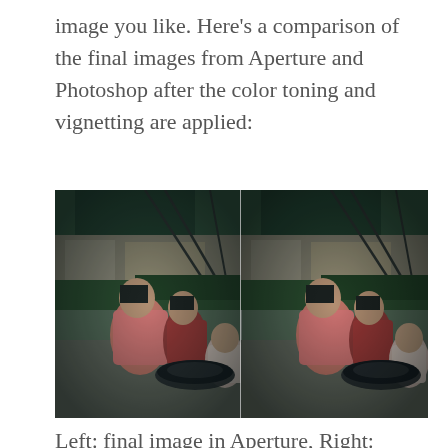image you like. Here's a comparison of the final images from Aperture and Photoshop after the color toning and vignetting are applied:
[Figure (photo): Side-by-side comparison photo of three children playing on a tire swing in a park. Left half shows the final image processed in Aperture, right half shows the final image processed in Photoshop. Both have color toning and vignetting applied. The images show cool/teal-toned color treatment with darkened edges.]
Left: final image in Aperture, Right: final image